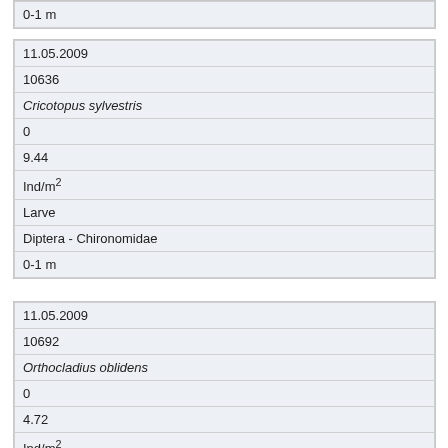| 0-1 m |
| 11.05.2009 |
| 10636 |
| Cricotopus sylvestris |
| 0 |
| 9.44 |
| Ind/m² |
| Larve |
| Diptera - Chironomidae |
| 0-1 m |
| 11.05.2009 |
| 10692 |
| Orthocladius oblidens |
| 0 |
| 4.72 |
| Ind/m² |
| Larve |
| Diptera - Chironomidae |
| 0-1 m |
| 11.05.2009 |